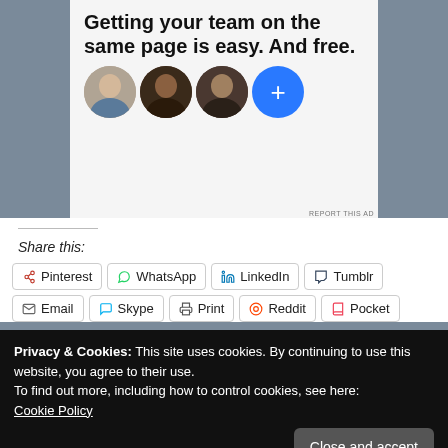[Figure (infographic): Advertisement card showing 'Getting your team on the same page is easy. And free.' with three circular profile photo avatars and a blue plus button, on a grey background]
Share this:
Pinterest  WhatsApp  LinkedIn  Tumblr  Email  Skype  Print  Reddit  Pocket
Privacy & Cookies: This site uses cookies. By continuing to use this website, you agree to their use.
To find out more, including how to control cookies, see here:
Cookie Policy
Related